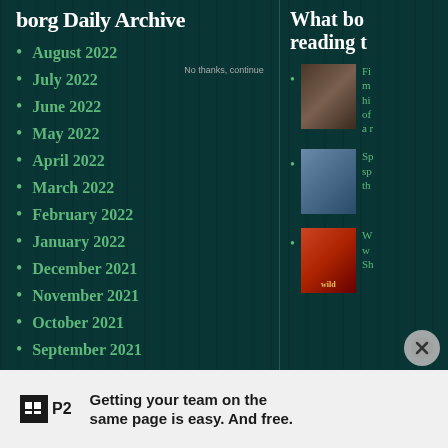borg Daily Archive
August 2022
July 2022
June 2022
May 2022
April 2022
March 2022
February 2022
January 2022
December 2021
November 2021
October 2021
September 2021
What bo reading t
[Figure (photo): Black and white photo of people outdoors]
Fi m hi of a r
[Figure (photo): Box set of books]
Sp sp th
[Figure (photo): Book cover with red sky - Wild]
W w Sh
Getting your team on the same page is easy. And free.